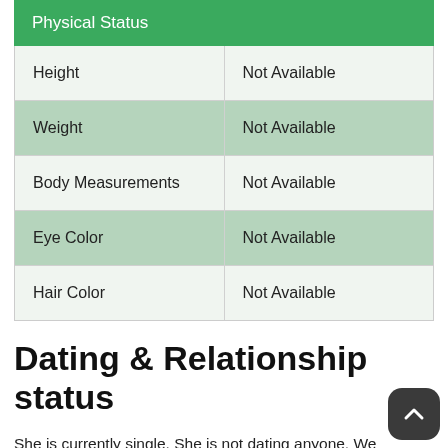Physical Status
|  |  |
| --- | --- |
| Height | Not Available |
| Weight | Not Available |
| Body Measurements | Not Available |
| Eye Color | Not Available |
| Hair Color | Not Available |
Dating & Relationship status
She is currently single. She is not dating anyone. We don't have much information about She's past